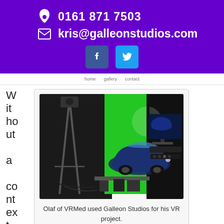0161 871 7503
kris@galleonstudios.com
[Figure (photo): Photo of a car in a green screen studio with cameras and monitors visible]
Olaf of VRMed used Galleon Studios for his VR project.
Without a context po